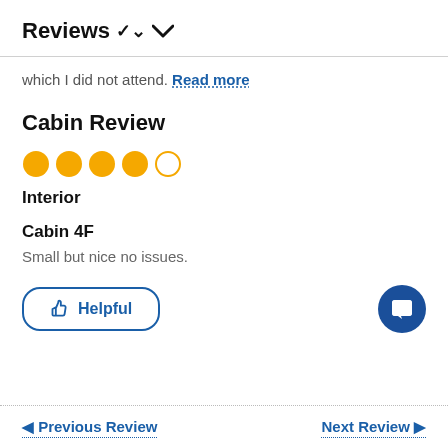Reviews ▾
which I did not attend. Read more
Cabin Review
[Figure (other): 4 out of 5 star rating shown as filled and empty orange circles]
Interior
Cabin 4F
Small but nice no issues.
Helpful
◄ Previous Review   Next Review ►